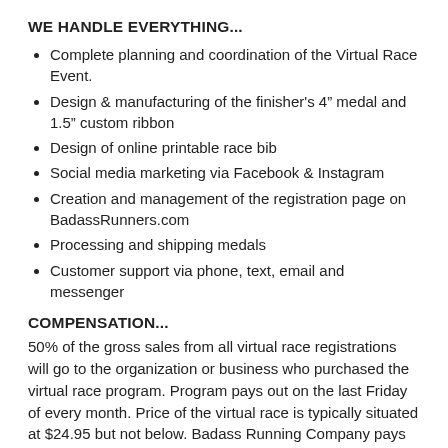WE HANDLE EVERYTHING...
Complete planning and coordination of the Virtual Race Event.
Design & manufacturing of the finisher's 4" medal and 1.5" custom ribbon
Design of online printable race bib
Social media marketing via Facebook & Instagram
Creation and management of the registration page on BadassRunners.com
Processing and shipping medals
Customer support via phone, text, email and messenger
COMPENSATION...
50% of the gross sales from all virtual race registrations will go to the organization or business who purchased the virtual race program. Program pays out on the last Friday of every month. Price of the virtual race is typically situated at $24.95 but not below. Badass Running Company pays for all packaging and first class package with tracking as well as all processing and credit card fees.